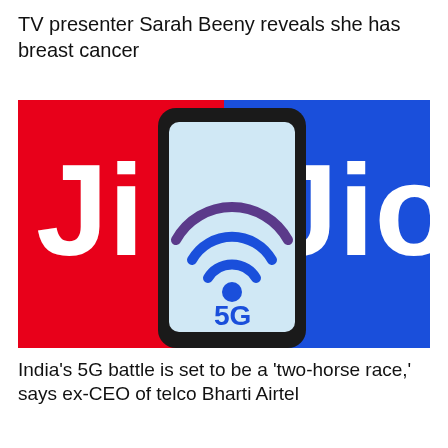TV presenter Sarah Beeny reveals she has breast cancer
[Figure (photo): A smartphone displaying a 5G WiFi signal icon with '5G' text against a background split between red (Jio logo left) and blue (Jio logo right) brand colors.]
India's 5G battle is set to be a 'two-horse race,' says ex-CEO of telco Bharti Airtel